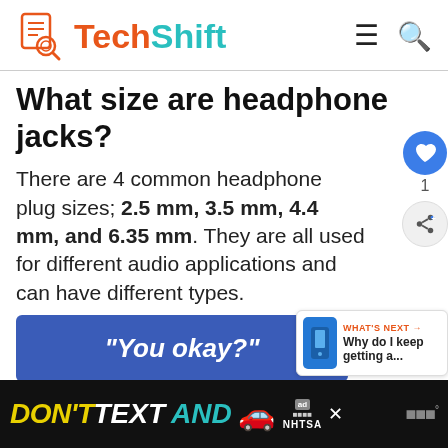TechShift
What size are headphone jacks?
There are 4 common headphone plug sizes; 2.5 mm, 3.5 mm, 4.4 mm, and 6.35 mm. They are all used for different audio applications and can have different types.
[Figure (screenshot): Blue rectangular banner ad with white italic bold text reading "You okay?"]
[Figure (infographic): What's Next widget showing phone icon and text: WHAT'S NEXT → Why do I keep getting a...]
[Figure (screenshot): Bottom ad bar: DON'T TEXT AND [car emoji] with NHTSA logo and ad badge. Dark background.]